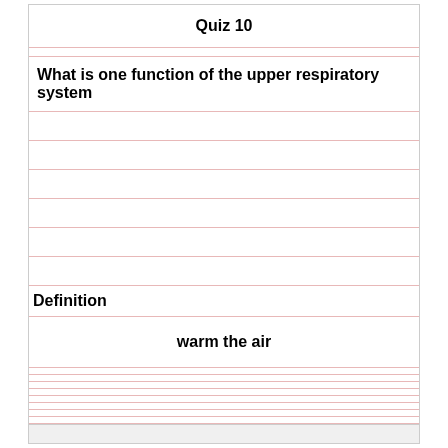Quiz 10
What is one function of the upper respiratory system
Definition
warm the air